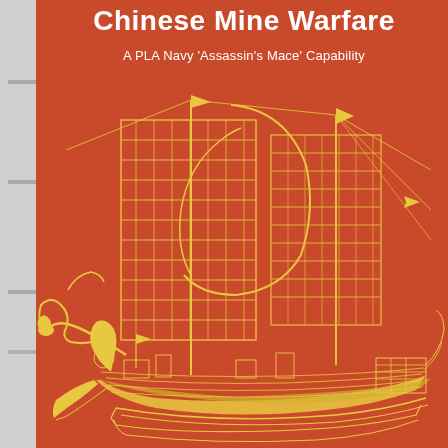Chinese Mine Warfare
A PLA Navy 'Assassin's Mace' Capability
[Figure (illustration): Yellow/gold line drawing of a traditional Chinese sailing junk ship with large latticed sails and rigging, rendered against the red background. A decorative serpentine/dragon element extends to the left of the ship.]